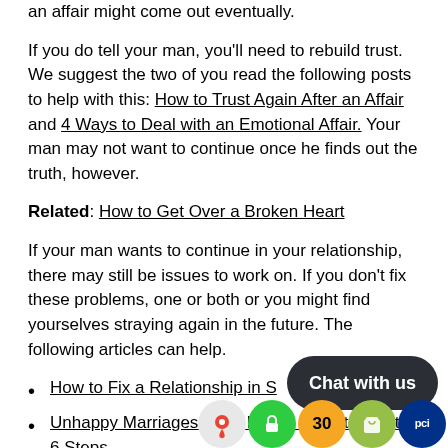an affair might come out eventually.
If you do tell your man, you'll need to rebuild trust. We suggest the two of you read the following posts to help with this: How to Trust Again After an Affair and 4 Ways to Deal with an Emotional Affair. Your man may not want to continue once he finds out the truth, however.
Related: How to Get Over a Broken Heart
If your man wants to continue in your relationship, there may still be issues to work on. If you don't fix these problems, one or both or you might find yourselves straying again in the future. The following articles can help.
How to Fix a Relationship in S...
Unhappy Marriages: How It H... to Fix It – 6 Steps